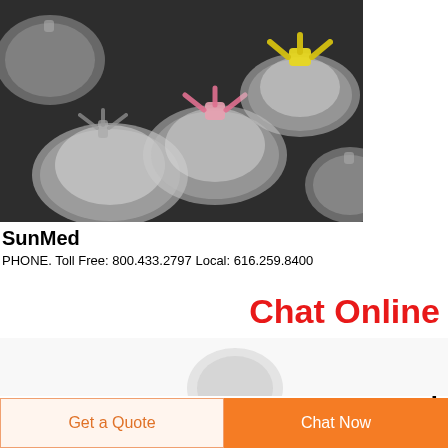[Figure (photo): Multiple transparent anesthesia/oxygen face masks of different sizes displayed on a dark background. Two masks have colored connectors: one pink, one yellow.]
SunMed
PHONE. Toll Free: 800.433.2797 Local: 616.259.8400
Chat Online
When
and
[Figure (photo): Partial image of medical products visible at the bottom of the page.]
Get a Quote
Chat Now